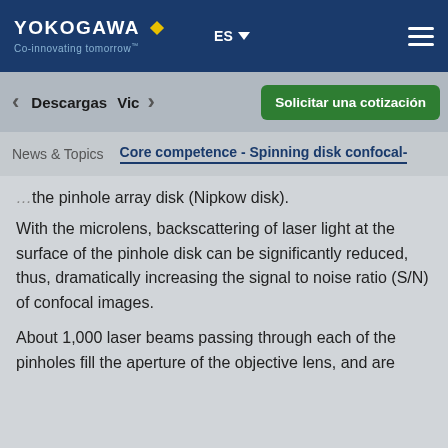YOKOGAWA Co-innovating tomorrow
ES | Solicitar una cotización
News & Topics | Core competence - Spinning disk confocal-
the pinhole array disk (Nipkow disk).
With the microlens, backscattering of laser light at the surface of the pinhole disk can be significantly reduced, thus, dramatically increasing the signal to noise ratio (S/N) of confocal images.
About 1,000 laser beams passing through each of the pinholes fill the aperture of the objective lens, and are